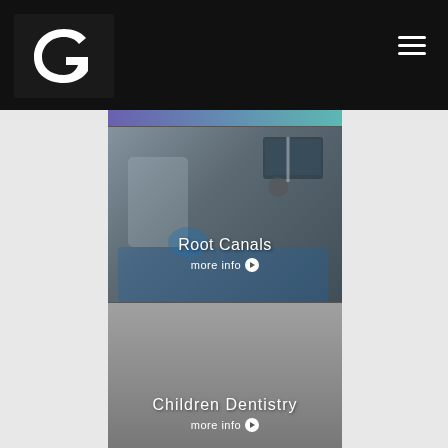[Figure (logo): White stylized G logo on black background]
[Figure (photo): Dental procedure photo showing dentist performing root canal on patient]
Root Canals
more info ❯
[Figure (photo): Children dentistry section with grey/muted background]
Children Dentistry
more info ❯